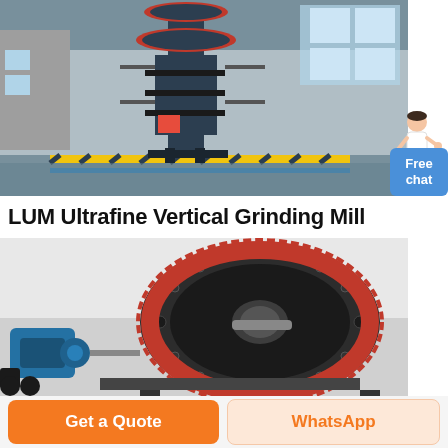[Figure (photo): LUM Ultrafine Vertical Grinding Mill inside an industrial factory hall — tall black vertical grinding machine with circular top, surrounded by structural steel, yellow safety striped barriers on the floor]
[Figure (illustration): Small icon of a customer service representative (person in white top gesturing) beside a blue Free Chat button]
LUM Ultrafine Vertical Grinding Mill
[Figure (photo): Close-up of a ball mill showing the large black cylindrical drum with red gear ring around it, and a blue motor/pump assembly on the left side]
Get a Quote
WhatsApp